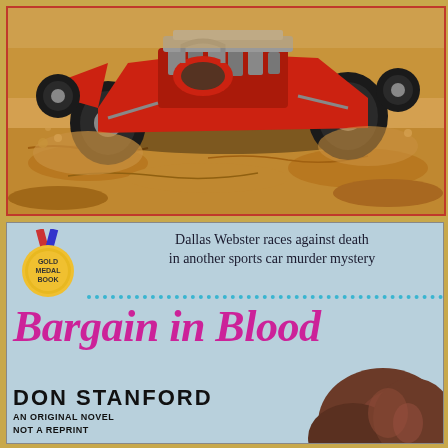[Figure (photo): A red open-wheel race car/hot rod photographed on sandy dirt ground, viewed from slightly above. The car is low-slung with exposed engine and large tires. Orange/tan sandy soil background.]
[Figure (illustration): Bottom half: Advertisement for a Gold Medal Book paperback. Shows a circular Gold Medal Book badge on the left, tagline text at top right, a dotted cyan divider line, large italic magenta title 'Bargain in Blood', author name 'DON STANFORD' in bold black, text 'AN ORIGINAL NOVEL NOT A REPRINT', and a partial view of a woman's brown hair at bottom right. Background is a muted blue-gray color.]
Dallas Webster races against death in another sports car murder mystery
Bargain in Blood
DON STANFORD
AN ORIGINAL NOVEL NOT A REPRINT